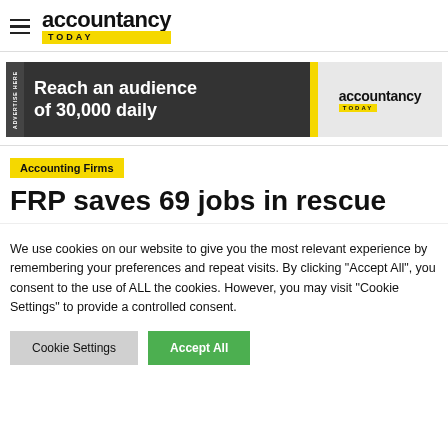accountancy TODAY
[Figure (other): Advertisement banner: Reach an audience of 30,000 daily - accountancy TODAY logo]
Accounting Firms
FRP saves 69 jobs in rescue
We use cookies on our website to give you the most relevant experience by remembering your preferences and repeat visits. By clicking "Accept All", you consent to the use of ALL the cookies. However, you may visit "Cookie Settings" to provide a controlled consent.
Cookie Settings | Accept All